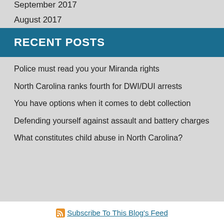September 2017
August 2017
RECENT POSTS
Police must read you your Miranda rights
North Carolina ranks fourth for DWI/DUI arrests
You have options when it comes to debt collection
Defending yourself against assault and battery charges
What constitutes child abuse in North Carolina?
Subscribe To This Blog's Feed